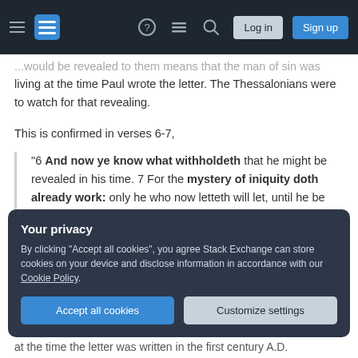Stack Exchange navigation bar with hamburger menu, logo, help, chat, search icons, Log in and Sign up buttons
...would be revealed to them means that the man of sin was living at the time Paul wrote the letter. The Thessalonians were to watch for that revealing.
This is confirmed in verses 6-7,
"6 And now ye know what withholdeth that he might be revealed in his time. 7 For the mystery of iniquity doth already work: only he who now letteth will let, until he be taken out of the way." (KJV)
Your privacy
By clicking "Accept all cookies", you agree Stack Exchange can store cookies on your device and disclose information in accordance with our Cookie Policy.
at the time the letter was written in the first century A.D.